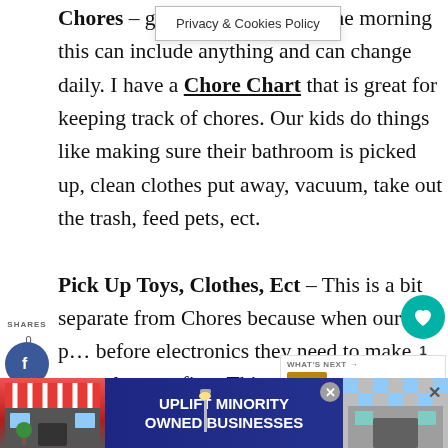[Figure (screenshot): Privacy & Cookies Policy banner overlay at top]
Chores – get out of the way in the morning this can include anything and can change daily. I have a Chore Chart that is great for keeping track of chores. Our kids do things like making sure their bathroom is picked up, clean clothes put away, vacuum, take out the trash, feed pets, ect.
[Figure (infographic): Social sharing sidebar with SHARES label, Facebook, Twitter, Pinterest buttons]
[Figure (infographic): Heart/like button and share count (1) on right side]
Pick Up Toys, Clothes, Ect – This is a bit separate from Chores because when our kids play before electronics they need to make sure they clean up first. This also ensures their pajamas from the night before...
[Figure (infographic): What's Next box: Daily To-Do List Chore...]
[Figure (infographic): Ad banner: UPLIFT MINORITY OWNED BUSINESSES with store illustrations on left and right sides]